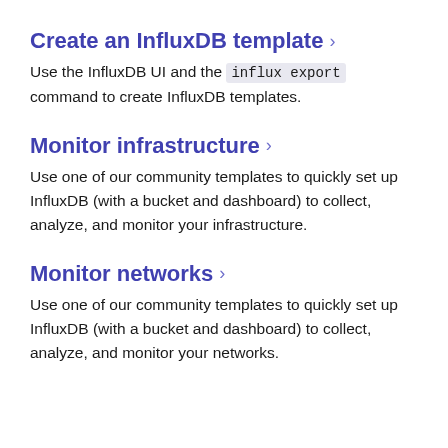Create an InfluxDB template >
Use the InfluxDB UI and the influx export command to create InfluxDB templates.
Monitor infrastructure >
Use one of our community templates to quickly set up InfluxDB (with a bucket and dashboard) to collect, analyze, and monitor your infrastructure.
Monitor networks >
Use one of our community templates to quickly set up InfluxDB (with a bucket and dashboard) to collect, analyze, and monitor your networks.